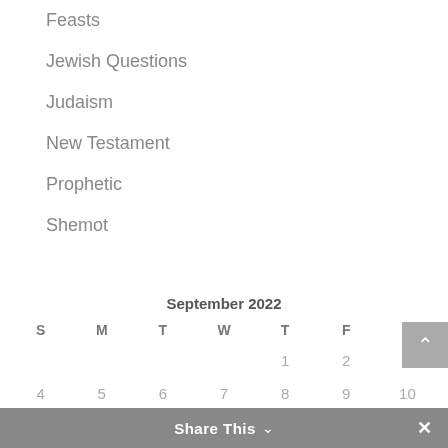Feasts
Jewish Questions
Judaism
New Testament
Prophetic
Shemot
| S | M | T | W | T | F | S |
| --- | --- | --- | --- | --- | --- | --- |
|  |  |  |  | 1 | 2 | 3 |
| 4 | 5 | 6 | 7 | 8 | 9 | 10 |
| 11 | 12 | 13 | 14 | 15 | 16 | 17 |
Share This ×